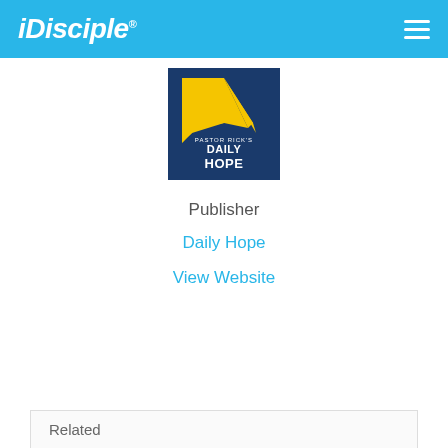iDisciple
[Figure (logo): Pastor Rick's Daily Hope logo — navy blue square with yellow sunburst rays and white text reading PASTOR RICK'S DAILY HOPE]
Publisher
Daily Hope
View Website
Related